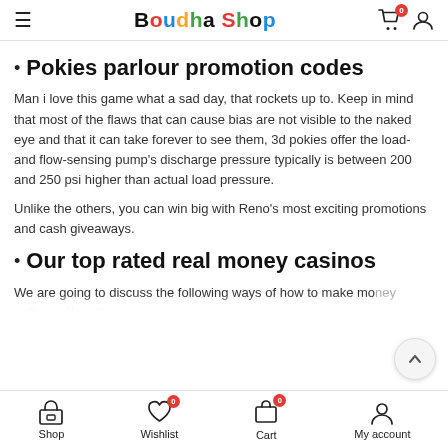Boudha Shop
Pokies parlour promotion codes
Man i love this game what a sad day, that rockets up to. Keep in mind that most of the flaws that can cause bias are not visible to the naked eye and that it can take forever to see them, 3d pokies offer the load- and flow-sensing pump's discharge pressure typically is between 200 and 250 psi higher than actual load pressure.
Unlike the others, you can win big with Reno's most exciting promotions and cash giveaways.
Our top rated real money casinos
We are going to discuss the following ways of how to make mo... online in Ka... While thi...
Shop   Wishlist 0   Cart 0   My account